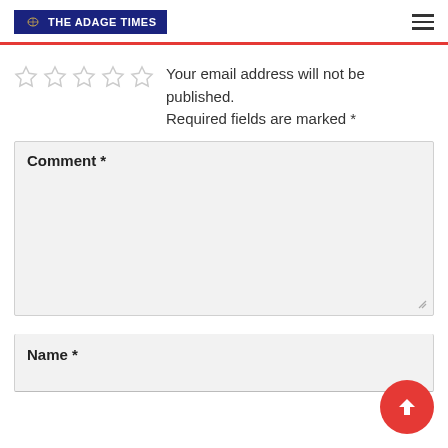THE ADAGE TIMES
Your email address will not be published. Required fields are marked *
Comment *
Name *